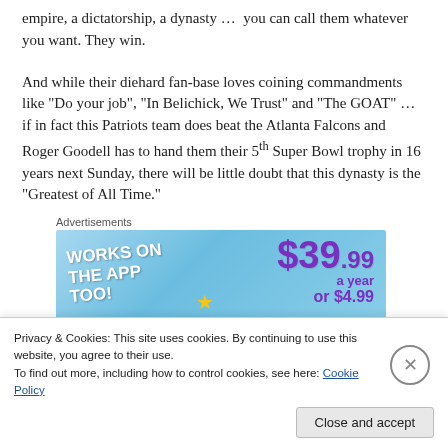empire, a dictatorship, a dynasty …  you can call them whatever you want. They win.
And while their diehard fan-base loves coining commandments like “Do your job”, “In Belichick, We Trust” and “The GOAT” … if in fact this Patriots team does beat the Atlanta Falcons and Roger Goodell has to hand them their 5th Super Bowl trophy in 16 years next Sunday, there will be little doubt that this dynasty is the “Greatest of All Time.”
Advertisements
[Figure (other): Advertisement banner with light blue gradient background. Left side has bold white text reading 'WORKS ON THE APP TOO!' rotated slightly. Right side shows price '$39.99 a year' and 'or $4.99' in purple bold font.]
Privacy & Cookies: This site uses cookies. By continuing to use this website, you agree to their use.
To find out more, including how to control cookies, see here: Cookie Policy
Close and accept